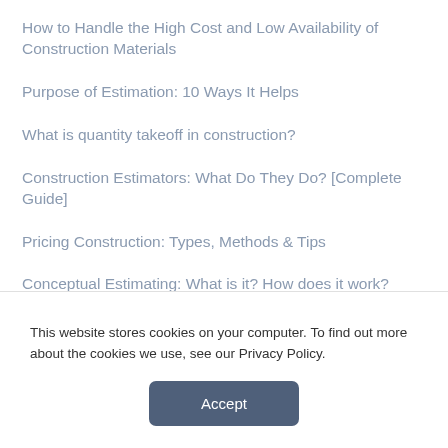How to Handle the High Cost and Low Availability of Construction Materials
Purpose of Estimation: 10 Ways It Helps
What is quantity takeoff in construction?
Construction Estimators: What Do They Do? [Complete Guide]
Pricing Construction: Types, Methods & Tips
Conceptual Estimating: What is it? How does it work?
Construction cost estimating methods
Rate Analysis: What is it, how does it work
This website stores cookies on your computer. To find out more about the cookies we use, see our Privacy Policy.
Accept